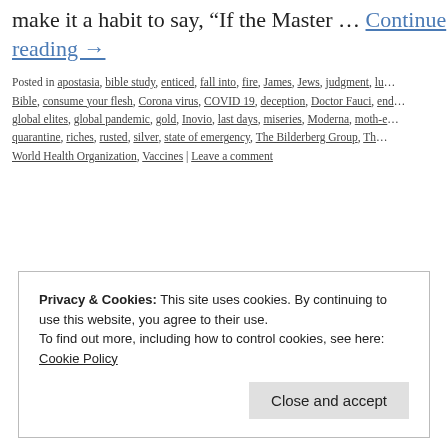make it a habit to say, “If the Master … Continue reading →
Posted in apostasia, bible study, enticed, fall into, fire, James, Jews, judgment, lu... Bible, consume your flesh, Corona virus, COVID 19, deception, Doctor Fauci, end... global elites, global pandemic, gold, Inovio, last days, miseries, Moderna, moth-e... quarantine, riches, rusted, silver, state of emergency, The Bilderberg Group, Th... World Health Organization, Vaccines | Leave a comment
Privacy & Cookies: This site uses cookies. By continuing to use this website, you agree to their use.
To find out more, including how to control cookies, see here: Cookie Policy
Close and accept